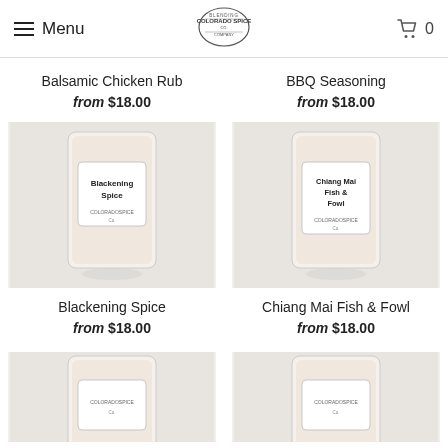Menu | Colorado Spice Company | Cart 0
Balsamic Chicken Rub
from $18.00
BBQ Seasoning
from $18.00
[Figure (photo): Bag of Blackening Spice by Colorado Spice Company]
Blackening Spice
from $18.00
[Figure (photo): Bag of Chiang Mai Fish & Fowl by Colorado Spice Company]
Chiang Mai Fish & Fowl
from $18.00
[Figure (photo): Partially visible bag of another Colorado Spice Company product (left)]
[Figure (photo): Partially visible bag of another Colorado Spice Company product (right)]